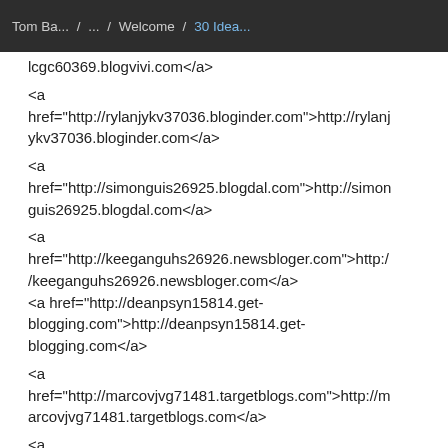Tom Ba... / ... / Welcome / 30 Idea...
lcgc60369.blogvivi.com</a>
<a href="http://rylanjykv37036.bloginder.com">http://rylanjykv37036.bloginder.com</a>
<a href="http://simonguis26925.blogdal.com">http://simonguis26925.blogdal.com</a>
<a href="http://keeganguhs26926.newsbloger.com">http://keeganguhs26926.newsbloger.com</a>
<a href="http://deanpsyn15814.get-blogging.com">http://deanpsyn15814.get-blogging.com</a>
<a href="http://marcovjvg71481.targetblogs.com">http://marcovjvg71481.targetblogs.com</a>
<a href="https://paxtonrfsd69369.activoblog.com">https://paxtonrfsd69369.activoblog.com</a>
<a href="https://judahatiu37936.blogoxo.com">https://judahatiu37936.blogoxo.com</a>
<a